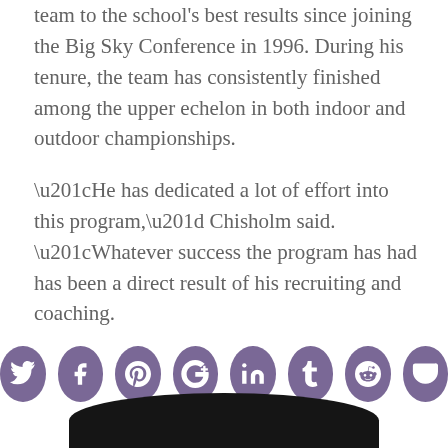team to the school's best results since joining the Big Sky Conference in 1996. During his tenure, the team has consistently finished among the upper echelon in both indoor and outdoor championships.
“He has dedicated a lot of effort into this program,” Chisholm said. “Whatever success the program has had has been a direct result of his recruiting and coaching.
[Figure (infographic): A row of eight circular social media share buttons in purple: Twitter, Facebook, Pinterest, Google+, LinkedIn, Tumblr, Reddit, Pocket]
[Figure (photo): Bottom portion of a dark/black rounded shape, likely the top of a person's head, cropped at the bottom of the page]